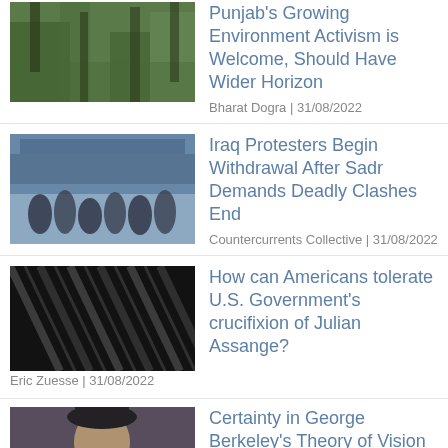Punjab's Growing Environment Activism is Welcome, Should Have Wider Horizon | Bharat Dogra | 31/08/2022
Iraq Protesters Begin Withdrawal After Sadr Demands Deadly Clashes End | Countercurrents Collective | 31/08/2022
How can Americans tolerate U.S. Government's crucifixion of Julian Assange? | Eric Zuesse | 31/08/2022
Certainty in George Berkeley's Theory of Vision and Immaterialism | Dr Pravat Ranjan Sethi | 31/08/2022
The Reactionary US Supreme Court